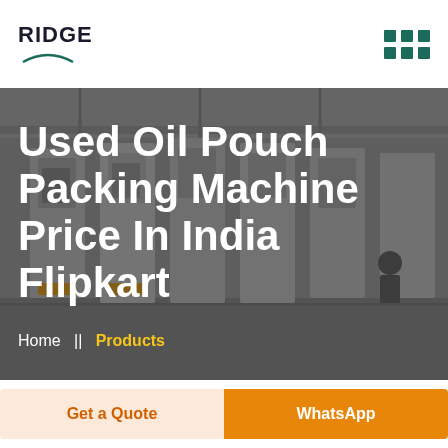RIDGE
[Figure (photo): Industrial machinery/packing machines in a factory floor, dark overlay, with large white title text 'Used Oil Pouch Packing Machine Price In India Flipkart' and breadcrumb 'Home || Products']
Used Oil Pouch Packing Machine Price In India Flipkart
Home  ||  Products